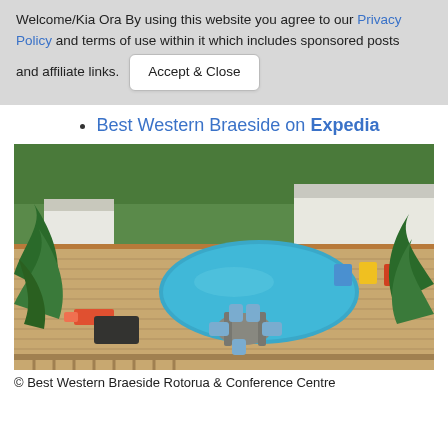Welcome/Kia Ora By using this website you agree to our Privacy Policy and terms of use within it which includes sponsored posts and affiliate links.  [Accept & Close button]
Best Western Braeside on Expedia
[Figure (photo): Outdoor pool area at Best Western Braeside Rotorua with deck chairs, patio furniture, pool, and surrounding vegetation]
© Best Western Braeside Rotorua & Conference Centre